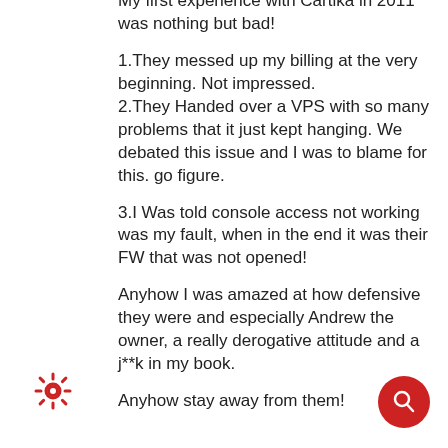My first experience with Cartika in 2011 was nothing but bad!
1.They messed up my billing at the very beginning. Not impressed.
2.They Handed over a VPS with so many problems that it just kept hanging. We debated this issue and I was to blame for this. go figure.
3.I Was told console access not working was my fault, when in the end it was their FW that was not opened!
Anyhow I was amazed at how defensive they were and especially Andrew the owner, a really derogative attitude and a j**k in my book.
Anyhow stay away from them!